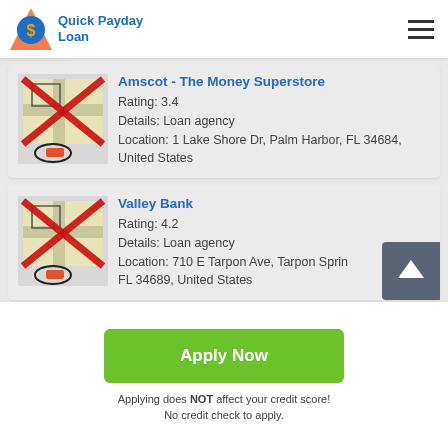Quick Payday Loan
Amscot - The Money Superstore
Rating: 3.4
Details: Loan agency
Location: 1 Lake Shore Dr, Palm Harbor, FL 34684, United States
Valley Bank
Rating: 4.2
Details: Loan agency
Location: 710 E Tarpon Ave, Tarpon Springs, FL 34689, United States
Apply Now
Applying does NOT affect your credit score!
No credit check to apply.